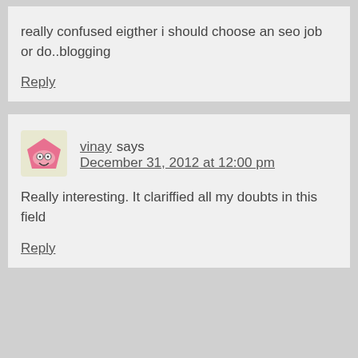really confused eigther i should choose an seo job or do..blogging
Reply
vinay says December 31, 2012 at 12:00 pm
Really interesting. It clariffied all my doubts in this field
Reply